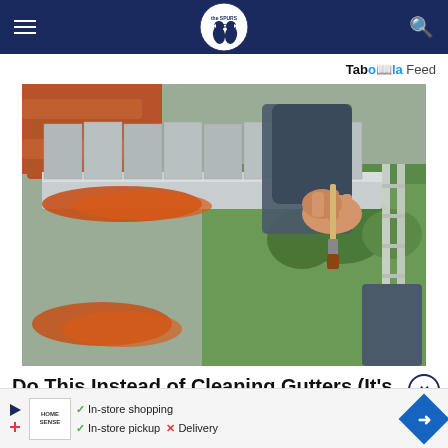The Spurs Web (logo) — navigation header
Taboola Feed
[Figure (photo): Person on a ladder cleaning or painting gutters with a brush, with orange debris visible in the gutter channel and a green garden in the background]
Do This Instead of Cleaning Gutters (It's
[Figure (other): Advertisement banner: Home Sense store with in-store shopping, in-store pickup available; Delivery with X mark. Blue diamond arrow icon on right.]